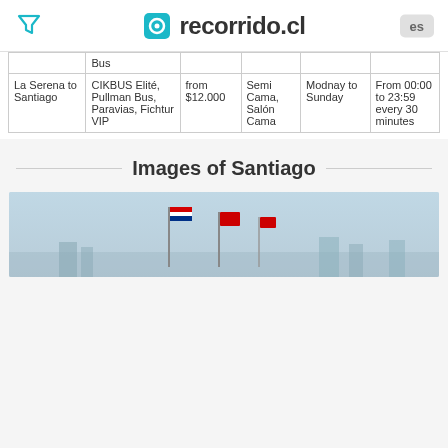recorrido.cl
| Route | Operators | Price | Seat type | Days | Schedule |
| --- | --- | --- | --- | --- | --- |
|  | Bus |  |  |  |  |
| La Serena to Santiago | CIKBUS Elité, Pullman Bus, Paravias, Fichtur VIP | from $12.000 | Semi Cama, Salón Cama | Modnay to Sunday | From 00:00 to 23:59 every 30 minutes |
Images of Santiago
[Figure (photo): Photo of Santiago skyline with flags and urban landscape under a light blue sky]